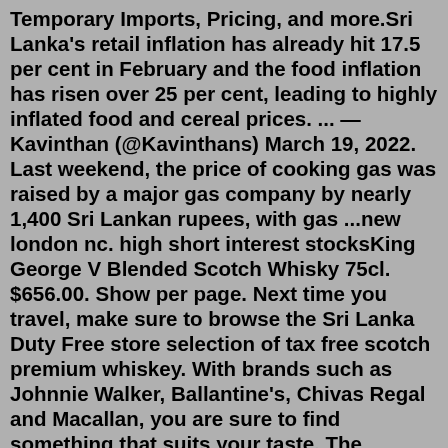Temporary Imports, Pricing, and more.Sri Lanka's retail inflation has already hit 17.5 per cent in February and the food inflation has risen over 25 per cent, leading to highly inflated food and cereal prices. ... — Kavinthan (@Kavinthans) March 19, 2022. Last weekend, the price of cooking gas was raised by a major gas company by nearly 1,400 Sri Lankan rupees, with gas ...new london nc. high short interest stocksKing George V Blended Scotch Whisky 75cl. $656.00. Show per page. Next time you travel, make sure to browse the Sri Lanka Duty Free store selection of tax free scotch premium whiskey. With brands such as Johnnie Walker, Ballantine's, Chivas Regal and Macallan, you are sure to find something that suits your taste. The independent UN experts on Wednesday expressed alarm over record high inflation, rising commodity prices, power shortages, crippling fuel crisis and the economic collapse in Sri Lanka, at a time when the country grapples with unprecedented political turmoil. ... In July 2022, inflation in the country hit a record high of 54.6 per